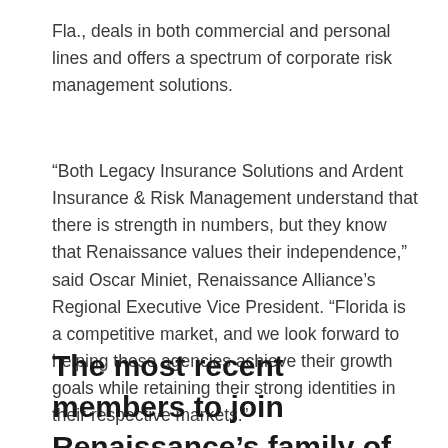Fla., deals in both commercial and personal lines and offers a spectrum of corporate risk management solutions.
“Both Legacy Insurance Solutions and Ardent Insurance & Risk Management understand that there is strength in numbers, but they know that Renaissance values their independence,” said Oscar Miniet, Renaissance Alliance’s Regional Executive Vice President. “Florida is a competitive market, and we look forward to helping these agencies achieve their growth goals while retaining their strong identities in their respective markets.”
The most recent members to join Renaissance’s family of independent agencies include: